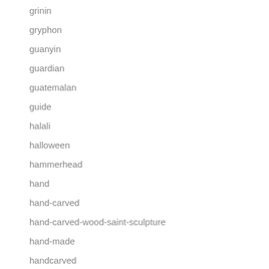grinin
gryphon
guanyin
guardian
guatemalan
guide
halali
halloween
hammerhead
hand
hand-carved
hand-carved-wood-saint-sculpture
hand-made
handcarved
handcrafted
handmade
handstand